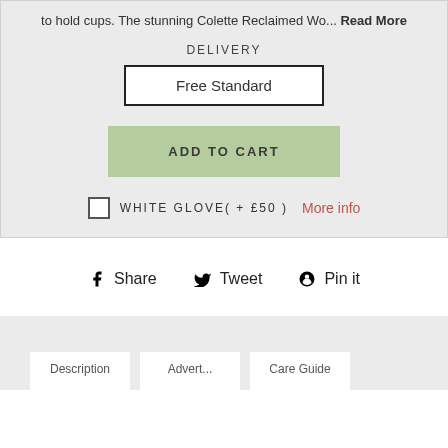to hold cups. The stunning Colette Reclaimed Wo... Read More
DELIVERY
Free Standard
ADD TO CART
WHITE GLOVE( + £50 )  More info
Share  Tweet  Pin it
Description  Advert...  Care Guide